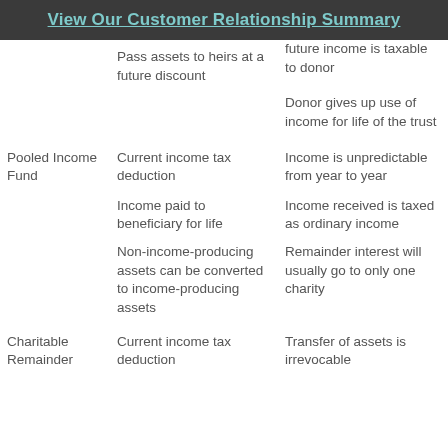View Our Customer Relationship Summary
|  | Benefits | Considerations |
| --- | --- | --- |
|  | Pass assets to heirs at a future discount | future income is taxable to donor |
|  |  | Donor gives up use of income for life of the trust |
| Pooled Income Fund | Current income tax deduction | Income is unpredictable from year to year |
|  | Income paid to beneficiary for life | Income received is taxed as ordinary income |
|  | Non-income-producing assets can be converted to income-producing assets | Remainder interest will usually go to only one charity |
| Charitable Remainder | Current income tax deduction | Transfer of assets is irrevocable |